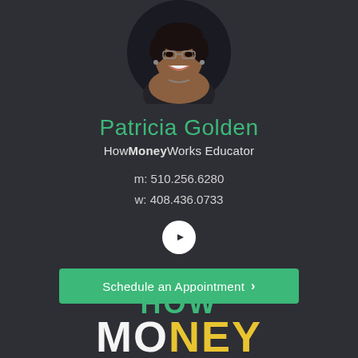[Figure (photo): Portrait photo of Patricia Golden, a smiling woman wearing glasses and a dark top, circular crop, on dark background]
Patricia Golden
HowMoneyWorks Educator
m: 510.256.6280
w: 408.436.0733
[Figure (logo): YouTube icon button — white circle with dark YouTube play button symbol]
Schedule an Appointment  >
[Figure (logo): HowMoneyWorks brand logo text — HOW in green, MONEY in white/yellow large bold letters at bottom of page]